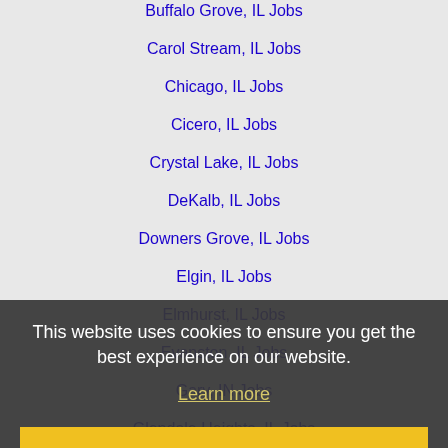Buffalo Grove, IL Jobs
Carol Stream, IL Jobs
Chicago, IL Jobs
Cicero, IL Jobs
Crystal Lake, IL Jobs
DeKalb, IL Jobs
Downers Grove, IL Jobs
Elgin, IL Jobs
Elmhurst, IL Jobs
Evanston, IL Jobs
Gary, IN Jobs
Glendale Heights, IL Jobs
Janesville, WI Jobs
Joliet, IL Jobs
Kenosha, WI Jobs
Lombard, IL Jobs
This website uses cookies to ensure you get the best experience on our website.
Learn more
Got it!